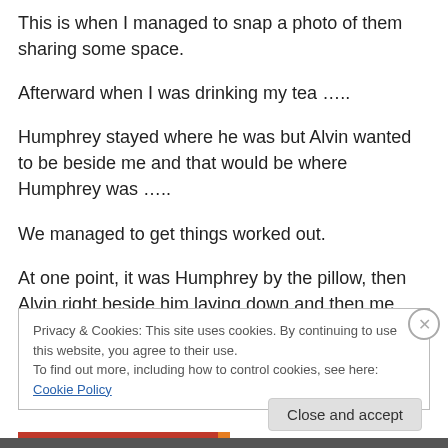This is when I managed to snap a photo of them sharing some space.
Afterward when I was drinking my tea …..
Humphrey stayed where he was but Alvin wanted to be beside me and that would be where Humphrey was …..
We managed to get things worked out.
At one point, it was Humphrey by the pillow, then Alvin right beside him laying down and then me.
Privacy & Cookies: This site uses cookies. By continuing to use this website, you agree to their use. To find out more, including how to control cookies, see here: Cookie Policy
Close and accept